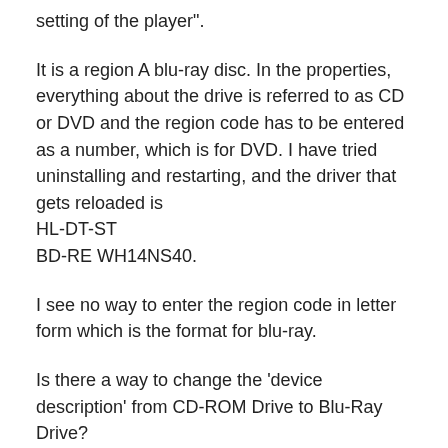setting of the player".
It is a region A blu-ray disc. In the properties, everything about the drive is referred to as CD or DVD and the region code has to be entered as a number, which is for DVD. I have tried uninstalling and restarting, and the driver that gets reloaded is HL-DT-ST
BD-RE WH14NS40.
I see no way to enter the region code in letter form which is the format for blu-ray.
Is there a way to change the 'device description' from CD-ROM Drive to Blu-Ray Drive?